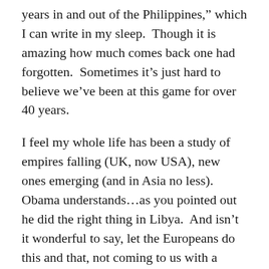years in and out of the Philippines,” which I can write in my sleep.  Though it is amazing how much comes back one had forgotten.  Sometimes it’s just hard to believe we’ve been at this game for over 40 years.
I feel my whole life has been a study of empires falling (UK, now USA), new ones emerging (and in Asia no less).  Obama understands…as you pointed out he did the right thing in Libya.  And isn’t it wonderful to say, let the Europeans do this and that, not coming to us with a begging bowl.  A true silver lining to loss of empire.  George W Bush merely hastened the decline.